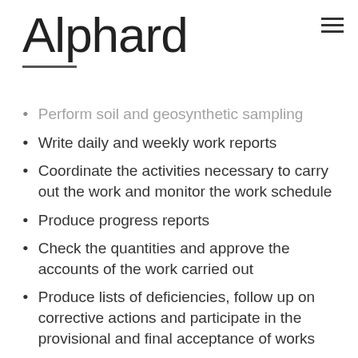Alphard
Perform soil and geosynthetic sampling
Write daily and weekly work reports
Coordinate the activities necessary to carry out the work and monitor the work schedule
Produce progress reports
Check the quantities and approve the accounts of the work carried out
Produce lists of deficiencies, follow up on corrective actions and participate in the provisional and final acceptance of works
Annotate the plans of all changes made during the construction stage